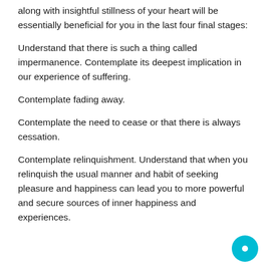along with insightful stillness of your heart will be essentially beneficial for you in the last four final stages:
Understand that there is such a thing called impermanence. Contemplate its deepest implication in our experience of suffering.
Contemplate fading away.
Contemplate the need to cease or that there is always cessation.
Contemplate relinquishment. Understand that when you relinquish the usual manner and habit of seeking pleasure and happiness can lead you to more powerful and secure sources of inner happiness and experiences.